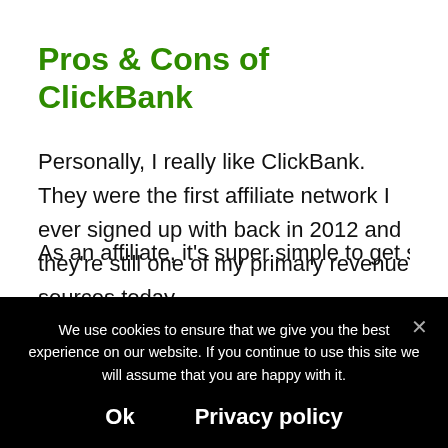Pros & Cons of ClickBank
Personally, I really like ClickBank. They were the first affiliate network I ever signed up with back in 2012 and they're still one of my primary revenue sources today.
As an affiliate, it's super simple to get started
We use cookies to ensure that we give you the best experience on our website. If you continue to use this site we will assume that you are happy with it.
Ok   Privacy policy